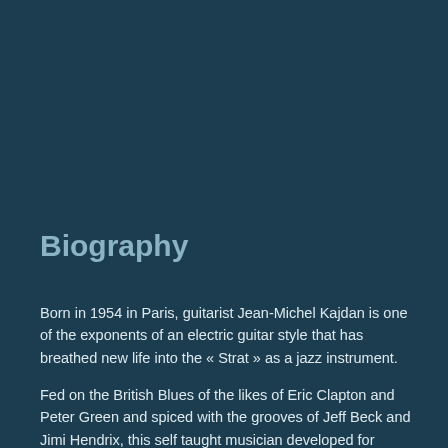Biography
Born in 1954 in Paris, guitarist Jean-Michel Kajdan is one of the exponents of an electric guitar style that has breathed new life into the « Strat » as a jazz instrument.
Fed on the British Blues of the likes of Eric Clapton and Peter Green and spiced with the grooves of Jeff Beck and Jimi Hendrix, this self taught musician developed for himself a distinctive modern rock style